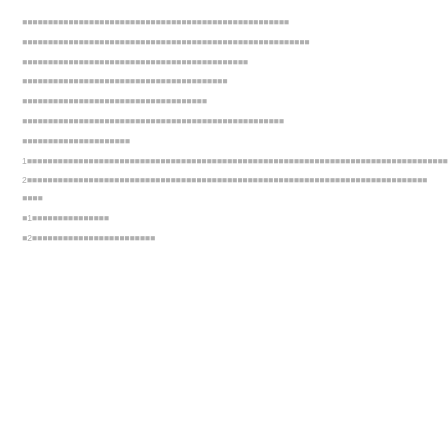■■■■■■■■■■■■■■■■■■■■■■■■■■■■■■■■■■■■■■■■■■■■■■■■■■■■
■■■■■■■■■■■■■■■■■■■■■■■■■■■■■■■■■■■■■■■■■■■■■■■■■■■■■■■■
■■■■■■■■■■■■■■■■■■■■■■■■■■■■■■■■■■■■■■■■■■■■
■■■■■■■■■■■■■■■■■■■■■■■■■■■■■■■■■■■■■■■■
■■■■■■■■■■■■■■■■■■■■■■■■■■■■■■■■■■■■
■■■■■■■■■■■■■■■■■■■■■■■■■■■■■■■■■■■■■■■■■■■■■■■■■■■
■■■■■■■■■■■■■■■■■■■■■
1■■■■■■■■■■■■■■■■■■■■■■■■■■■■■■■■■■■■■■■■■■■■■■■■■■■■■■■■■■■■■■■■■■■■■■■■■■■■■■■■■■■■■■■■■■■■■■■■■■■■■■■■■■■■■■■■■■■■■■■■■■■■■■■■■■■■■■■
2■■■■■■■■■■■■■■■■■■■■■■■■■■■■■■■■■■■■■■■■■■■■■■■■■■■■■■■■■■■■■■■■■■■■■■■■■■■■■■■■■
■■■■
■1■■■■■■■■■■■■■■■
■2■■■■■■■■■■■■■■■■■■■■■■■■